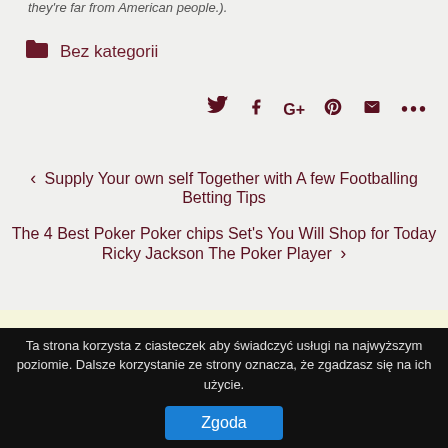they're far from American people.).
Bez kategorii
[Figure (other): Social sharing icons: Twitter, Facebook, Google+, Pinterest, Email, More (...)]
< Supply Your own self Together with A few Footballing Betting Tips
The 4 Best Poker Poker chips Set's You Will Shop for Today Ricky Jackson The Poker Player >
Ta strona korzysta z ciasteczek aby świadczyć usługi na najwyższym poziomie. Dalsze korzystanie ze strony oznacza, że zgadzasz się na ich użycie.